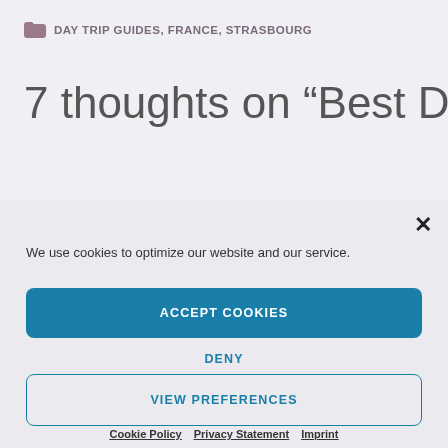DAY TRIP GUIDES, FRANCE, STRASBOURG
7 thoughts on “Best Day
We use cookies to optimize our website and our service.
ACCEPT COOKIES
DENY
VIEW PREFERENCES
Cookie Policy   Privacy Statement   Imprint